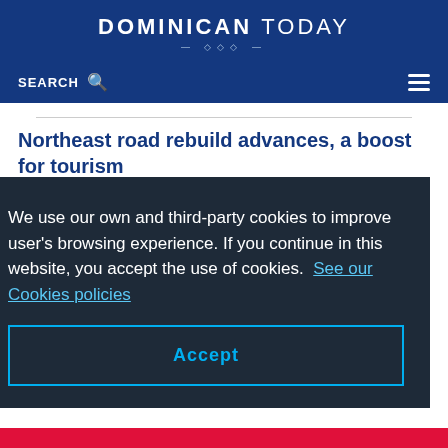DOMINICAN TODAY
SEARCH
Northeast road rebuild advances, a boost for tourism
ECONOMY   September 30, 2015 | 11:38 am
Miches, Dominican Republic.-Public Works minister
We use our own and third-party cookies to improve user’s browsing experience. If you continue in this website, you accept the use of cookies.  See our Cookies policies
Accept